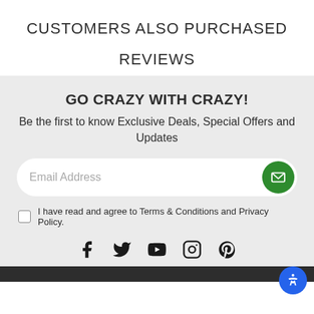CUSTOMERS ALSO PURCHASED
REVIEWS
GO CRAZY WITH CRAZY!
Be the first to know Exclusive Deals, Special Offers and Updates
Email Address
I have read and agree to Terms & Conditions and Privacy Policy.
[Figure (infographic): Social media icons: Facebook, Twitter, YouTube, Instagram, Pinterest]